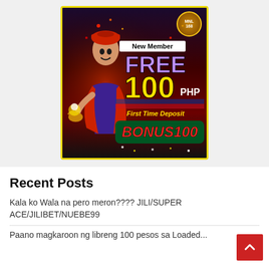[Figure (illustration): Online casino advertisement banner for MNL168. Shows an Aladdin-like character holding a magic lamp with text 'New Member FREE 100 PHP' and 'First Time Deposit BONUS100' on a dark red/purple background with yellow border.]
Recent Posts
Kala ko Wala na pero meron???? JILI/SUPER ACE/JILIBET/NUEBE99
Paano magkaroon ng libreng 100 pesos sa Loaded...